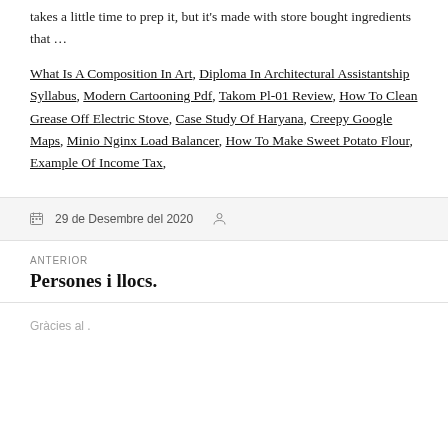takes a little time to prep it, but it's made with store bought ingredients that …
What Is A Composition In Art, Diploma In Architectural Assistantship Syllabus, Modern Cartooning Pdf, Takom Pl-01 Review, How To Clean Grease Off Electric Stove, Case Study Of Haryana, Creepy Google Maps, Minio Nginx Load Balancer, How To Make Sweet Potato Flour, Example Of Income Tax,
29 de Desembre del 2020
ANTERIOR
Persones i llocs.
Gràcies al .